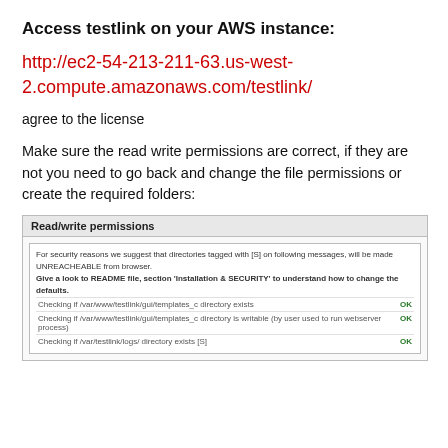Access testlink on your AWS instance:
http://ec2-54-213-211-63.us-west-2.compute.amazonaws.com/testlink/
agree to the license
Make sure the read write permissions are correct, if they are not you need to go back and change the file permissions or create the required folders:
[Figure (screenshot): Screenshot of TestLink Read/write permissions checker page showing security messages and directory check results with OK status indicators]